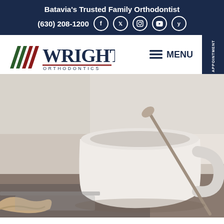Batavia's Trusted Family Orthodontist
(630) 208-1200
[Figure (logo): Wright Orthodontics logo with stylized W in green, white, red colors and 'WRIGHT ORTHODONTICS' text in navy blue]
MENU
MAKE AN APPOINTMENT
[Figure (photo): Close-up photo of a white coffee mug on a table with a laptop or device visible, warm neutral tones, hands partially visible]